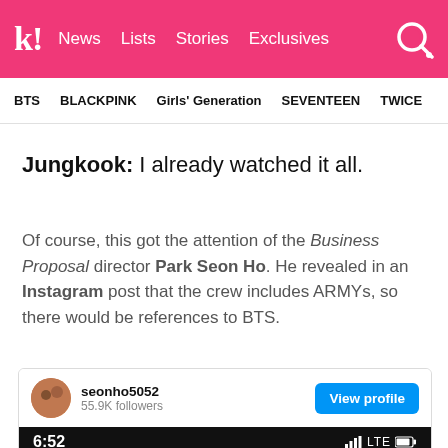k! News Lists Stories Exclusives
BTS BLACKPINK Girls' Generation SEVENTEEN TWICE
Jungkook: I already watched it all.
Of course, this got the attention of the Business Proposal director Park Seon Ho. He revealed in an Instagram post that the crew includes ARMYs, so there would be references to BTS.
[Figure (screenshot): Instagram embed card showing seonho5052 profile with 55.9K followers and a View profile button, below which is a phone screenshot showing 6:52 time with LTE signal and a DM from jungkook.97 received 6분 ago]